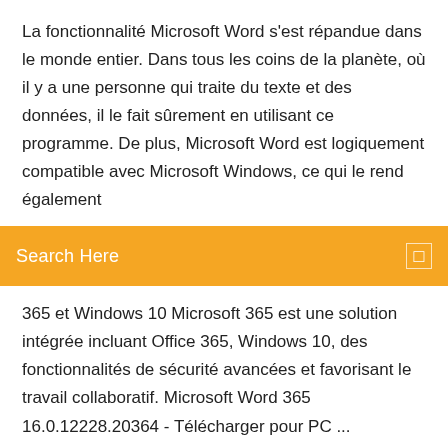La fonctionnalité Microsoft Word s'est répandue dans le monde entier. Dans tous les coins de la planète, où il y a une personne qui traite du texte et des données, il le fait sûrement en utilisant ce programme. De plus, Microsoft Word est logiquement compatible avec Microsoft Windows, ce qui le rend également
[Figure (screenshot): Orange search bar with 'Search Here' placeholder text and a search icon on the right]
365 et Windows 10 Microsoft 365 est une solution intégrée incluant Office 365, Windows 10, des fonctionnalités de sécurité avancées et favorisant le travail collaboratif. Microsoft Word 365 16.0.12228.20364 - Télécharger pour PC ... 07/10/2019 · 8/10 (4602 votes) - Télécharger Microsoft Word Gratuitement. Le meilleur logiciel de traitement de textes est sans doute Microsoft Word. Ses options le transforment en la meilleur option pour créer des documents. La suite bureautique Microsoft Office a atteint le ... Microsoft Office Word (version